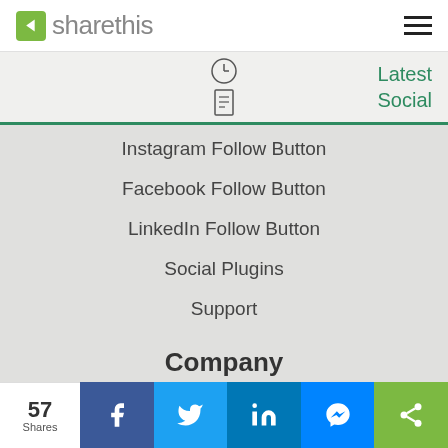[Figure (logo): ShareThis logo with green icon and grey text]
[Figure (other): Hamburger menu icon (three horizontal lines)]
Latest
Social
Instagram Follow Button
Facebook Follow Button
LinkedIn Follow Button
Social Plugins
Support
Company
57 Shares